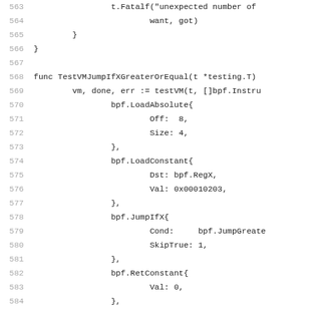[Figure (other): Source code listing in Go language, lines 563-584, showing code for TestVMJumpIfXGreaterOrEqual function with bpf instructions including LoadAbsolute, LoadConstant, JumpIfX, and RetConstant]